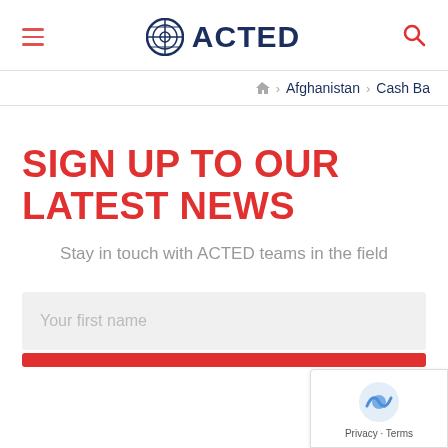ACTED (logo with hamburger menu and search icon)
Afghanistan > Cash Ba...
SIGN UP TO OUR LATEST NEWS
Stay in touch with ACTED teams in the field
Your first name
[Figure (logo): reCAPTCHA badge with Privacy - Terms text]